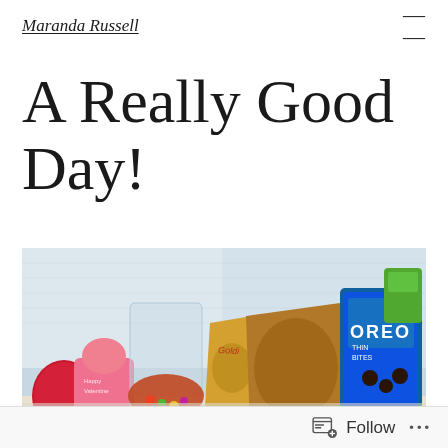Maranda Russell
A Really Good Day!
[Figure (photo): Photo of various snack items and gifts arranged on a surface against a white paneled wall, including an Oreo Thins Bites bag, a red heart-shaped item, pink packaging, chips, and other snack bags]
Follow ...